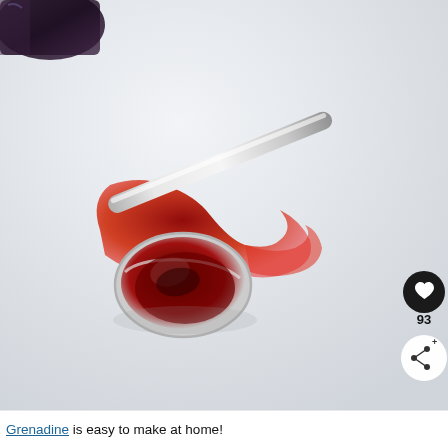[Figure (photo): A silver spoon resting on a white surface with a spill of deep red grenadine syrup spreading around it. In the upper left corner, a dark glass is partially visible. The photo has a clean, overhead/angled perspective on a white background.]
Grenadine is easy to make at home!